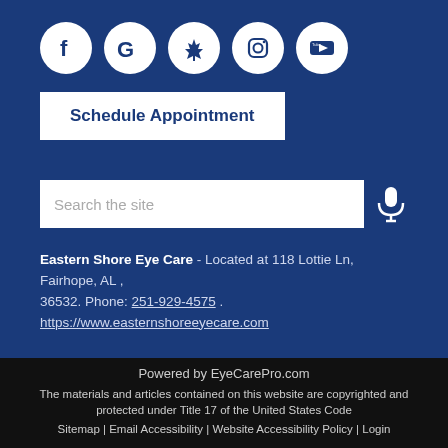[Figure (logo): Social media icon circles: Facebook, Google, Yelp, Instagram, YouTube]
Schedule Appointment
Search the site
Eastern Shore Eye Care - Located at 118 Lottie Ln, Fairhope, AL , 36532. Phone: 251-929-4575 . https://www.easternshoreeyecare.com
Powered by EyeCarePro.com
The materials and articles contained on this website are copyrighted and protected under Title 17 of the United States Code
Sitemap | Email Accessibility | Website Accessibility Policy | Login